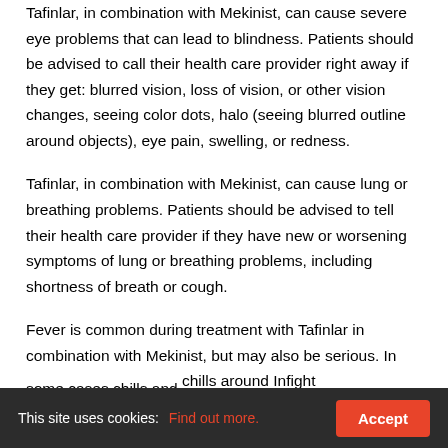Tafinlar, in combination with Mekinist, can cause severe eye problems that can lead to blindness. Patients should be advised to call their health care provider right away if they get: blurred vision, loss of vision, or other vision changes, seeing color dots, halo (seeing blurred outline around objects), eye pain, swelling, or redness.
Tafinlar, in combination with Mekinist, can cause lung or breathing problems. Patients should be advised to tell their health care provider if they have new or worsening symptoms of lung or breathing problems, including shortness of breath or cough.
Fever is common during treatment with Tafinlar in combination with Mekinist, but may also be serious. In some cases chills and chills around Infight...
This site uses cookies: Find out more. Accept